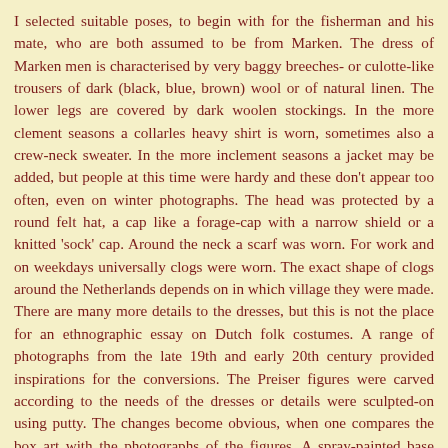I selected suitable poses, to begin with for the fisherman and his mate, who are both assumed to be from Marken. The dress of Marken men is characterised by very baggy breeches- or culotte-like trousers of dark (black, blue, brown) wool or of natural linen. The lower legs are covered by dark woolen stockings. In the more clement seasons a collarles heavy shirt is worn, sometimes also a crew-neck sweater. In the more inclement seasons a jacket may be added, but people at this time were hardy and these don't appear too often, even on winter photographs. The head was protected by a round felt hat, a cap like a forage-cap with a narrow shield or a knitted 'sock' cap. Around the neck a scarf was worn. For work and on weekdays universally clogs were worn. The exact shape of clogs around the Netherlands depends on in which village they were made. There are many more details to the dresses, but this is not the place for an ethnographic essay on Dutch folk costumes. A range of photographs from the late 19th and early 20th century provided inspirations for the conversions. The Preiser figures were carved according to the needs of the dresses or details were sculpted-on using putty. The changes become obvious, when one compares the box art with the photographs of the figures. A spray-painted base coat in a dark flesh colour make imperfections glaringly obvious, when a photograph is taken. The skipper will be clad largely dark, with the clogs having a light, but worn wood-colour. Conversely, his mate will be at work, cleaning some gear and, therefore, is dressed with a beige canvas apron. He also put on